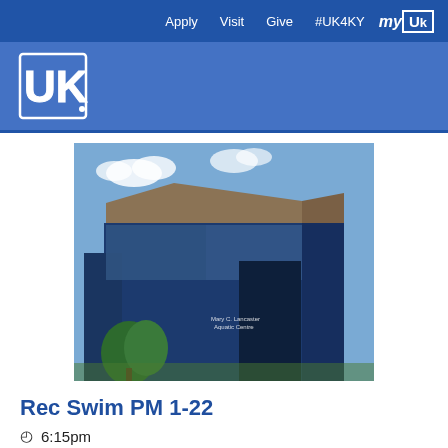Apply  Visit  Give  #UK4KY  myUK
[Figure (logo): University of Kentucky UK logo in white on blue background]
[Figure (photo): Exterior photo of the Mary C. Lancaster Aquatic Center building — a modern dark blue angular structure with glass panels and trees in front, blue sky with clouds above]
Rec Swim PM 1-22
6:15pm
Lancaster Aquatic